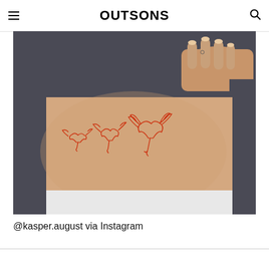OUTSONS
[Figure (photo): Close-up photo of a person's torso/rib area showing small red dragon tattoos on the skin, with the person wearing a dark grey top lifted up, and one hand visible at the top of the frame.]
@kasper.august via Instagram